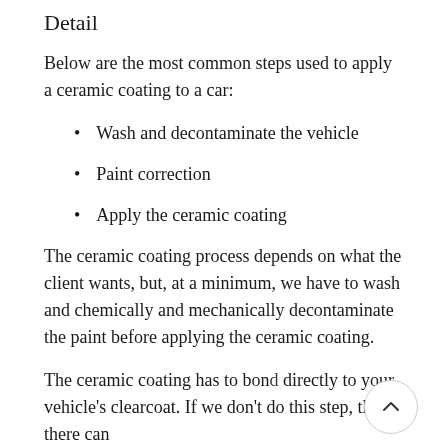Detail
Below are the most common steps used to apply a ceramic coating to a car:
Wash and decontaminate the vehicle
Paint correction
Apply the ceramic coating
The ceramic coating process depends on what the client wants, but, at a minimum, we have to wash and chemically and mechanically decontaminate the paint before applying the ceramic coating.
The ceramic coating has to bond directly to your vehicle's clearcoat. If we don't do this step, then there can